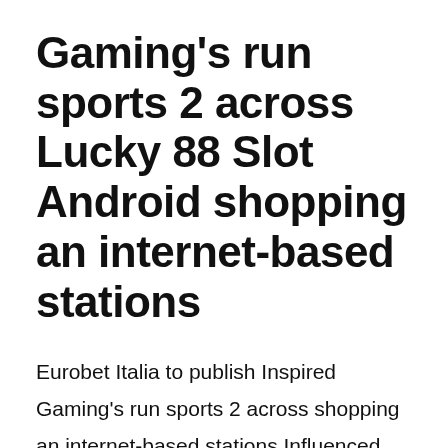Gaming's run sports 2 across Lucky 88 Slot Android shopping an internet-based stations
Eurobet Italia to publish Inspired Gaming's run sports 2 across shopping an internet-based stations Influenced Gaming, a provider that is london-headquartered of wide directory of digital recreations and other solutions for your playing market, nowadays launched that